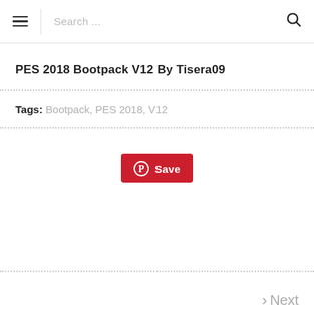Search ...
PES 2018 Bootpack V12 By Tisera09
Tags: Bootpack, PES 2018, V12
[Figure (other): Pinterest Save button with Pinterest icon]
Next